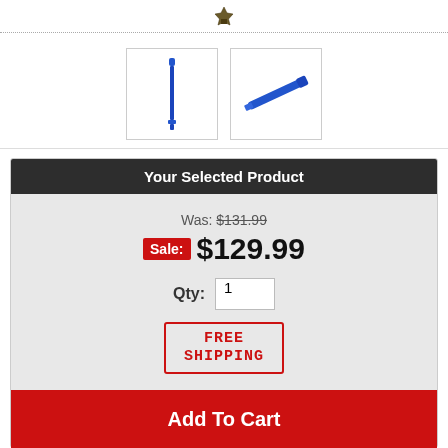[Figure (logo): Small crown/shield logo icon at top center]
[Figure (photo): Two product thumbnails: a blue pen/tool shown vertically and diagonally]
Your Selected Product
Was: $131.99
Sale: $129.99
Qty: 1
[Figure (other): FREE SHIPPING badge with red border and red text]
Add To Cart
Add To Wishlist